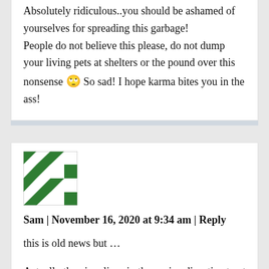Absolutely ridiculous..you should be ashamed of yourselves for spreading this garbage!
People do not believe this please, do not dump your living pets at shelters or the pound over this nonsense 🙄 So sad! I hope karma bites you in the ass!
[Figure (illustration): Green and white geometric checkered avatar/gravatar icon]
Sam | November 16, 2020 at 9:34 am | Reply
this is old news but …
Actually the virus lives in the canine digestive tract and can be spread the feces